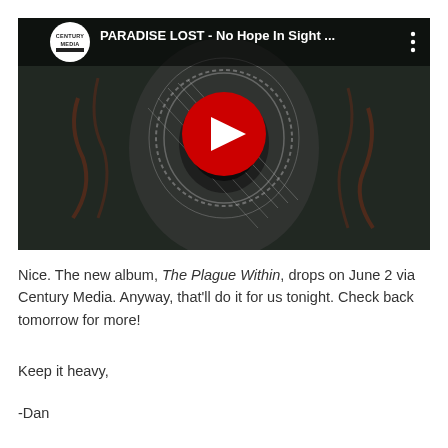[Figure (screenshot): YouTube video thumbnail showing PARADISE LOST - No Hope In Sight ... with Century Media logo in top-left, dark gothic artwork of a face/skull with tentacles, and a red YouTube play button in the center. Three-dot menu icon in top-right.]
Nice. The new album, The Plague Within, drops on June 2 via Century Media. Anyway, that'll do it for us tonight. Check back tomorrow for more!
Keep it heavy,
-Dan